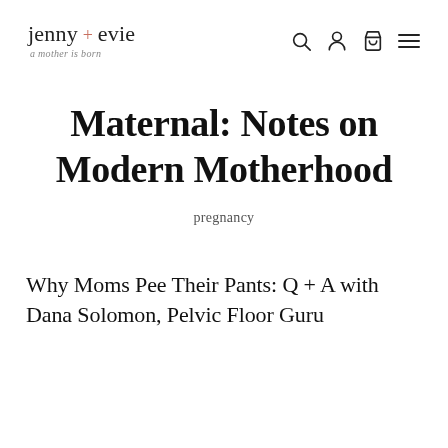jenny + evie — a mother is born
Maternal: Notes on Modern Motherhood
pregnancy
Why Moms Pee Their Pants: Q + A with Dana Solomon, Pelvic Floor Guru